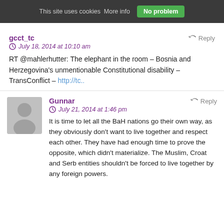This site uses cookies More info  No problem
gcct_tc
July 18, 2014 at 10:10 am
RT @mahlerhutter: The elephant in the room – Bosnia and Herzegovina's unmentionable Constitutional disability – TransConflict – http://tc..
Gunnar
July 21, 2014 at 1:46 pm
It is time to let all the BaH nations go their own way, as they obviously don't want to live together and respect each other. They have had enough time to prove the opposite, which didn't materialize. The Muslim, Croat and Serb entities shouldn't be forced to live together by any foreign powers.